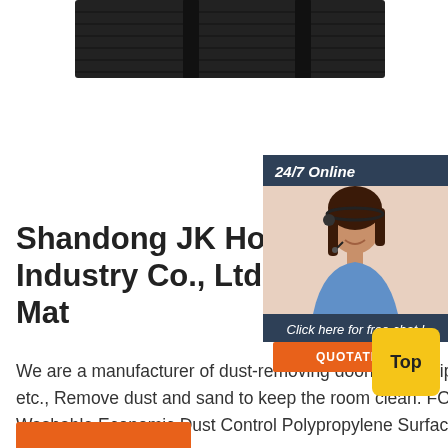[Figure (photo): Black rolled exercise/yoga mat or carpet mat product image at top of page]
[Figure (photo): Customer service banner: '24/7 Online' header with photo of smiling female agent with headset, 'Click here for free chat!' text, and orange QUOTATION button]
Shandong JK Household Industry Co., Ltd. - Carpet Mat
We are a manufacturer of dust-removing doormats: Stripe doormats, Turfed doormats, Rubber doormats, etc., Remove dust and sand to keep the room clean. FOB:$4.20 - $5.80. 500 Square Meters (Min. Order) Washable Economic Dust Control Polypropylene Surface Cut Pile Door Mat With Pvc Backing. FOB:$2.42 - $2.80.
[Figure (other): Orange button at bottom left, partially visible]